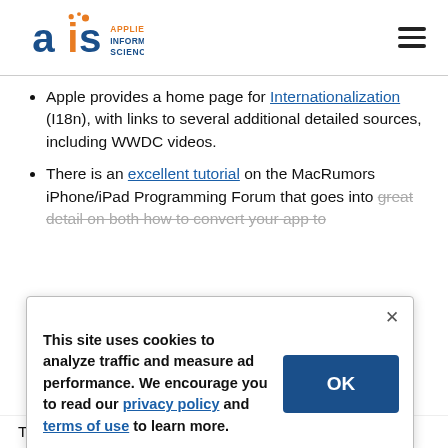AIS Applied Information Sciences
Apple provides a home page for Internationalization (I18n), with links to several additional detailed sources, including WWDC videos.
There is an excellent tutorial on the MacRumors iPhone/iPad Programming Forum that goes into great detail on both how to convert your app to
This site uses cookies to analyze traffic and measure ad performance. We encourage you to read our privacy policy and terms of use to learn more.
This article will take a high-level look at what needs to be